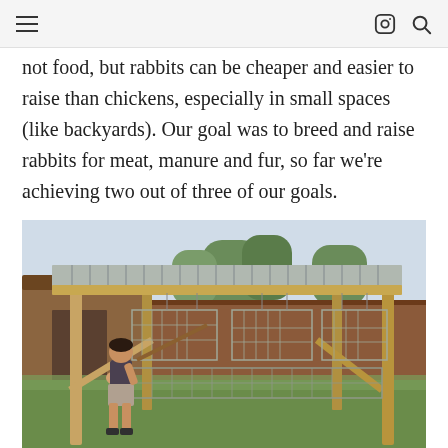not food, but rabbits can be cheaper and easier to raise than chickens, especially in small spaces (like backyards). Our goal was to breed and raise rabbits for meat, manure and fur, so far we’re achieving two out of three of our goals.
[Figure (photo): A person working on a large outdoor rabbit hutch structure made of wood and wire mesh, set in a backyard. The structure has a corrugated metal roof supported by wooden posts, with multiple wire cages hanging inside. A house/garage is visible in the background.]